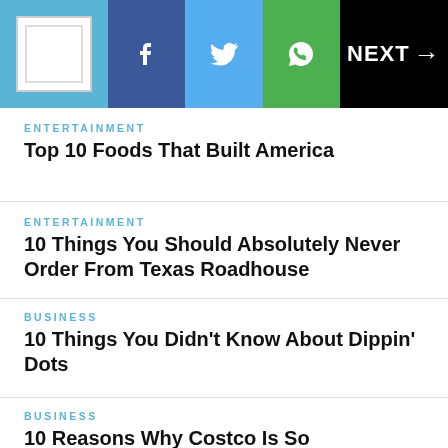[Figure (other): Navigation bar with logo, Facebook, Twitter, WhatsApp share buttons, and NEXT arrow button]
ENTERTAINMENT
Top 10 Foods That Built America
ENTERTAINMENT
10 Things You Should Absolutely Never Order From Texas Roadhouse
BUSINESS
10 Things You Didn't Know About Dippin' Dots
BUSINESS
10 Reasons Why Costco Is So Successful!